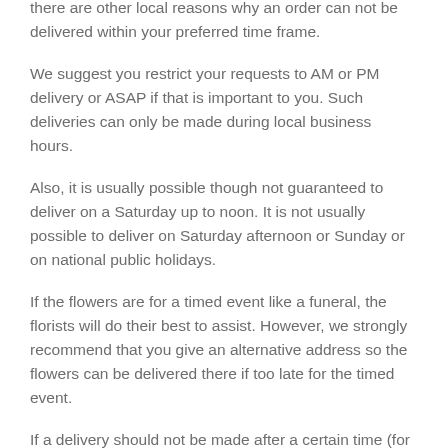there are other local reasons why an order can not be delivered within your preferred time frame.
We suggest you restrict your requests to AM or PM delivery or ASAP if that is important to you. Such deliveries can only be made during local business hours.
Also, it is usually possible though not guaranteed to deliver on a Saturday up to noon. It is not usually possible to deliver on Saturday afternoon or Sunday or on national public holidays.
If the flowers are for a timed event like a funeral, the florists will do their best to assist. However, we strongly recommend that you give an alternative address so the flowers can be delivered there if too late for the timed event.
If a delivery should not be made after a certain time (for example, if the recipient is leaving the hotel), please either provide an alternative